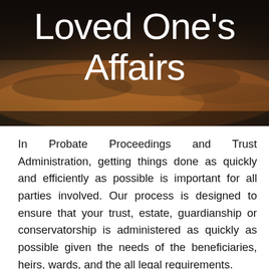[Figure (photo): Dark atmospheric photo of a sunset over water with dramatic clouds, used as hero background image with large white text overlaid reading 'Loved One's Affairs']
Loved One's Affairs
In Probate Proceedings and Trust Administration, getting things done as quickly and efficiently as possible is important for all parties involved. Our process is designed to ensure that your trust, estate, guardianship or conservatorship is administered as quickly as possible given the needs of the beneficiaries, heirs, wards, and the all legal requirements.